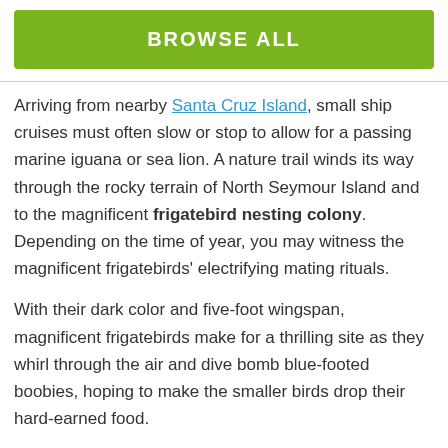[Figure (other): Green 'BROWSE ALL' button/banner]
Arriving from nearby Santa Cruz Island, small ship cruises must often slow or stop to allow for a passing marine iguana or sea lion. A nature trail winds its way through the rocky terrain of North Seymour Island and to the magnificent frigatebird nesting colony. Depending on the time of year, you may witness the magnificent frigatebirds' electrifying mating rituals.
With their dark color and five-foot wingspan, magnificent frigatebirds make for a thrilling site as they whirl through the air and dive bomb blue-footed boobies, hoping to make the smaller birds drop their hard-earned food.